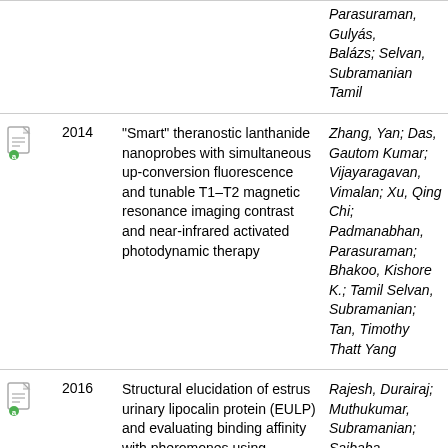|  | Year | Title | Authors |
| --- | --- | --- | --- |
| [icon] |  | Parasuraman, Gulyás, Balázs; Selvan, Subramanian Tamil |  |
| [icon] | 2014 | "Smart" theranostic lanthanide nanoprobes with simultaneous up-conversion fluorescence and tunable T1–T2 magnetic resonance imaging contrast and near-infrared activated photodynamic therapy | Zhang, Yan; Das, Gautom Kumar; Vijayaragavan, Vimalan; Xu, Qing Chi; Padmanabhan, Parasuraman; Bhakoo, Kishore K.; Tamil Selvan, Subramanian; Tan, Timothy Thatt Yang |
| [icon] | 2016 | Structural elucidation of estrus urinary lipocalin protein (EULP) and evaluating binding affinity with pheromones using molecular docking and fluorescence study | Rajesh, Durairaj; Muthukumar, Subramanian; Saibaba, Ganesan; Siva, Durairaj; Akbarsha, Mohammad Abdulkader; Gulyás, Balázs… |